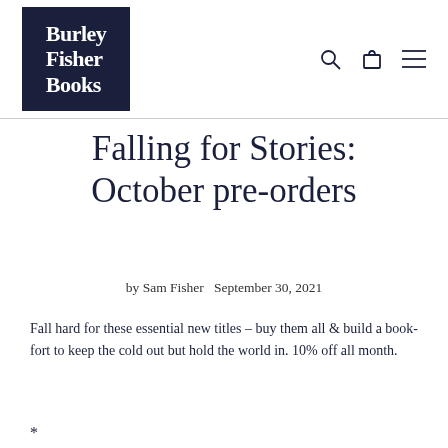Burley Fisher Books
Falling for Stories: October pre-orders
by Sam Fisher   September 30, 2021
Fall hard for these essential new titles – buy them all & build a book-fort to keep the cold out but hold the world in. 10% off all month.
*